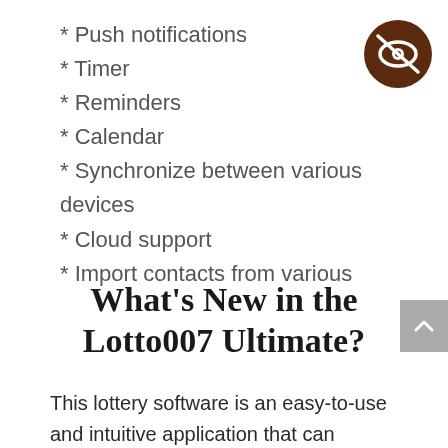* Push notifications
* Timer
* Reminders
* Calendar
* Synchronize between various devices
* Cloud support
* Import contacts from various
[Figure (illustration): Dark brown circle icon with a crossed-out eye symbol (privacy/hidden icon)]
What's New in the Lotto007 Ultimate?
This lottery software is an easy-to-use and intuitive application that can predict future lottery drawings based on past drawings. All in all, Lotto007 Ultimate is a fast, powerful utility